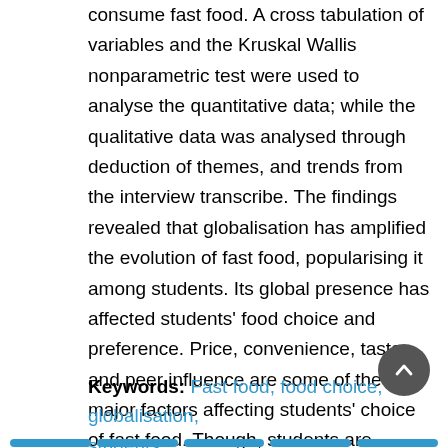consume fast food. A cross tabulation of variables and the Kruskal Wallis nonparametric test were used to analyse the quantitative data; while the qualitative data was analysed through deduction of themes, and trends from the interview transcribe. The findings revealed that globalisation has amplified the evolution of fast food, popularising it among students. Its global presence has affected students' food choice and preference. Price, convenience, taste, and peer influence are some of the major factors affecting students' choice of fast food. Though, students are familiar with the health effect of fast food and the significance of using food information labels for healthy choice making, their preference of fast food is more than homemade food.
Keywords: Fast food, food choice, globalisation, students.